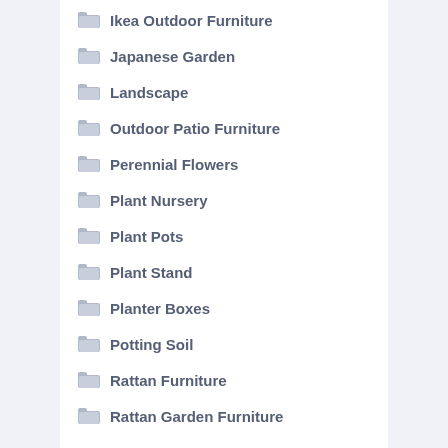Ikea Outdoor Furniture
Japanese Garden
Landscape
Outdoor Patio Furniture
Perennial Flowers
Plant Nursery
Plant Pots
Plant Stand
Planter Boxes
Potting Soil
Rattan Furniture
Rattan Garden Furniture